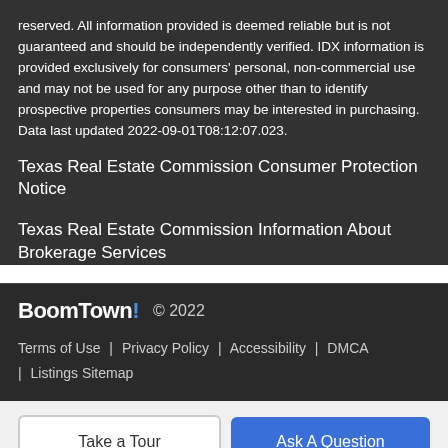reserved. All information provided is deemed reliable but is not guaranteed and should be independently verified. IDX information is provided exclusively for consumers' personal, non-commercial use and may not be used for any purpose other than to identify prospective properties consumers may be interested in purchasing. Data last updated 2022-09-01T08:12:07.023.
Texas Real Estate Commission Consumer Protection Notice
Texas Real Estate Commission Information About Brokerage Services
BoomTown! © 2022 | Terms of Use | Privacy Policy | Accessibility | DMCA | Listings Sitemap
Take a Tour | Ask A Question